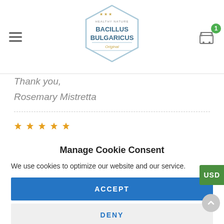BACILLUS BULGARICUS - website header with logo, hamburger menu, and cart with 1 item
Thank you,
Rosemary Mistretta
[Figure (other): Five gold/orange star rating icons in a row]
Manage Cookie Consent
We use cookies to optimize our website and our service.
ACCEPT
DENY
PREFERENCES